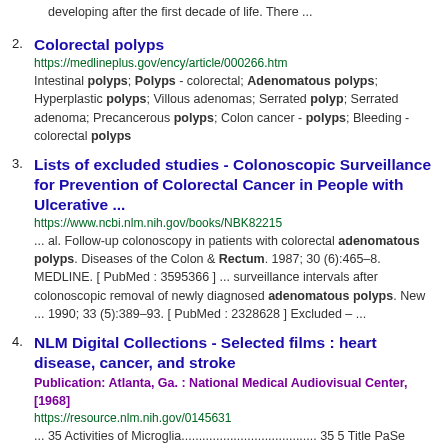developing after the first decade of life. There ...
2. Colorectal polyps
https://medlineplus.gov/ency/article/000266.htm
Intestinal polyps; Polyps - colorectal; Adenomatous polyps; Hyperplastic polyps; Villous adenomas; Serrated polyp; Serrated adenoma; Precancerous polyps; Colon cancer - polyps; Bleeding - colorectal polyps
3. Lists of excluded studies - Colonoscopic Surveillance for Prevention of Colorectal Cancer in People with Ulcerative ...
https://www.ncbi.nlm.nih.gov/books/NBK82215
... al. Follow-up colonoscopy in patients with colorectal adenomatous polyps. Diseases of the Colon & Rectum. 1987; 30 (6):465–8. MEDLINE. [ PubMed : 3595366 ] ... surveillance intervals after colonoscopic removal of newly diagnosed adenomatous polyps. New ... 1990; 33 (5):389–93. [ PubMed : 2328628 ] Excluded – ...
4. NLM Digital Collections - Selected films : heart disease, cancer, and stroke
Publication: Atlanta, Ga. : National Medical Audiovisual Center, [1968]
https://resource.nlm.nih.gov/0145631
... 35 Activities of Microglia....................................... 35 5 Title PaSe